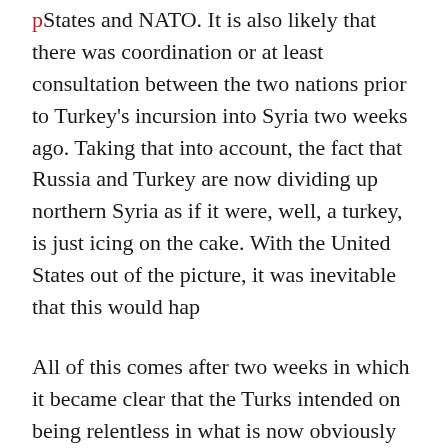States and NATO. It is also likely that there was coordination or at least consultation between the two nations prior to Turkey's incursion into Syria two weeks ago. Taking that into account, the fact that Russia and Turkey are now dividing up northern Syria as if it were, well, a turkey, is just icing on the cake. With the United States out of the picture, it was inevitable that this would hap
All of this comes after two weeks in which it became clear that the Turks intended on being relentless in what is now obviously designed to be an operation against the Kurdish forces in Syria rather than an effort to carve out a “safe zone” as originally claimed. Reports on the ground from American and other reporters over this period have told tales of Turkish artillery hitting civilian areas in Kurdish areas and Turkish soldiers engaging in brutal